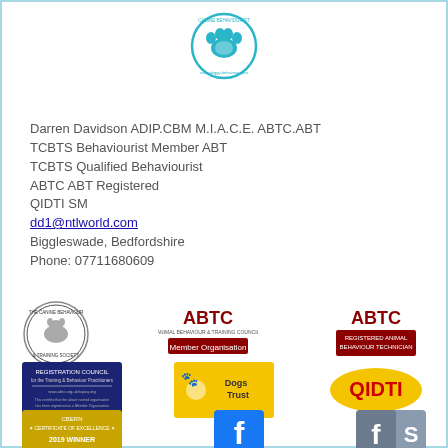[Figure (logo): Canine Behaviourist circular logo with dog and paw print in teal/blue]
Darren Davidson ADIP.CBM M.I.A.C.E. ABTC.ABT
TCBTS Behaviourist Member ABT
TCBTS Qualified Behaviourist
ABTC ABT Registered
QIDTI SM
dd1@ntlworld.com
Biggleswade, Bedfordshire
Phone: 07711680609
[Figure (logo): The Canine Behaviour & Training Society circular badge logo]
[Figure (logo): ABTC Member Organisation red logo]
[Figure (logo): ABTC Registered Animal Behaviour Technician red logo]
[Figure (logo): Registration Council navy blue logo]
[Figure (logo): Dogs Trust yellow logo]
[Figure (logo): QIDTI yellow oval logo]
[Figure (logo): CBERN Certificate of Excellence 2019 Winner gold badge]
[Figure (logo): Facebook blue square logo with f]
[Figure (logo): Facebook gray/blue square logo with f S]